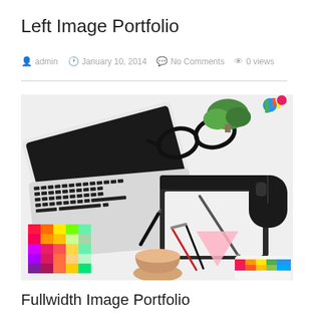Left Image Portfolio
admin   January 10, 2014   No Comments   0 views
[Figure (photo): Flat lay of designer workspace with laptop keyboard, glasses, green plant, colorful toy, drawing tablet with stylus, black mouse, color swatches/palette grid, compass/dividers, ruler, and a cup of coffee on white background.]
Fullwidth Image Portfolio